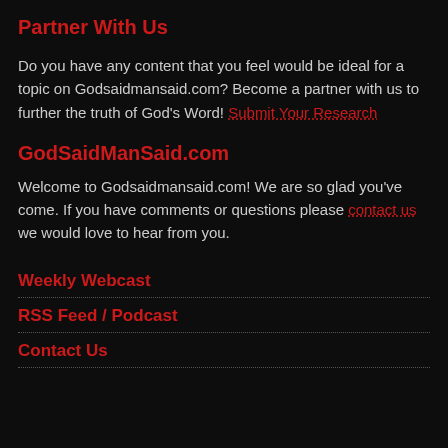Partner With Us
Do you have any content that you feel would be ideal for a topic on Godsaidmansaid.com? Become a partner with us to further the truth of God's Word! Submit Your Research
GodSaidManSaid.com
Welcome to Godsaidmansaid.com! We are so glad you've come. If you have comments or questions please contact us we would love to hear from you.
Weekly Webcast
RSS Feed / Podcast
Contact Us